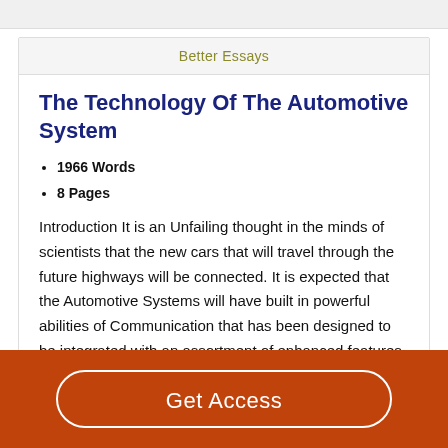Better Essays
The Technology Of The Automotive System
1966 Words
8 Pages
Introduction It is an Unfailing thought in the minds of scientists that the new cars that will travel through the future highways will be connected. It is expected that the Automotive Systems will have built in powerful abilities of Communication that has been designed to be integrated with an assortment of enhanced features and driving functions